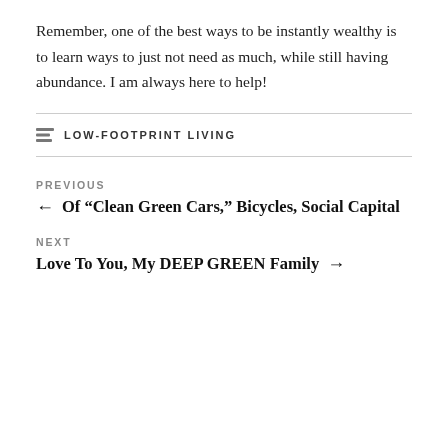Remember, one of the best ways to be instantly wealthy is to learn ways to just not need as much, while still having abundance. I am always here to help!
LOW-FOOTPRINT LIVING
PREVIOUS
← Of “Clean Green Cars,” Bicycles, Social Capital
NEXT
Love To You, My DEEP GREEN Family →